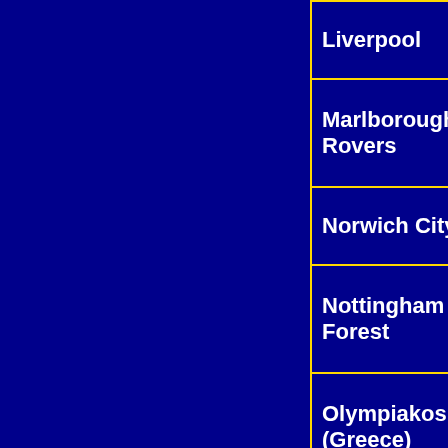| Club | Count |
| --- | --- |
| Liverpool | 1 |
| Marlborough Rovers | 1 |
| Norwich City | 1 |
| Nottingham Forest | 1 |
| Olympiakos (Greece) | 1 |
| NK Maribor (Slovenia) | 1 |
| Preston North End | 1 |
| Sunderland | 1 |
| Wolverhampton |  |